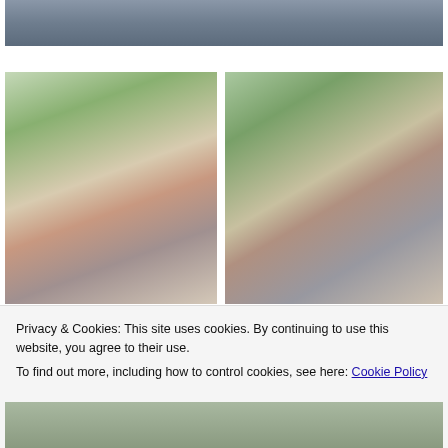[Figure (photo): Top portion of a family photo at a Christmas tree farm, showing partial view of people sitting outdoors]
[Figure (photo): Left photo: A woman with blonde hair wearing a white vest and plaid shirt posing with two young girls at a Christmas tree farm]
[Figure (photo): Right photo: A woman with blonde hair holding a child in a red outfit, with another young girl, at a Christmas tree farm]
Privacy & Cookies: This site uses cookies. By continuing to use this website, you agree to their use.
To find out more, including how to control cookies, see here: Cookie Policy
[Figure (photo): Bottom partial photo of a person at a Christmas tree farm]